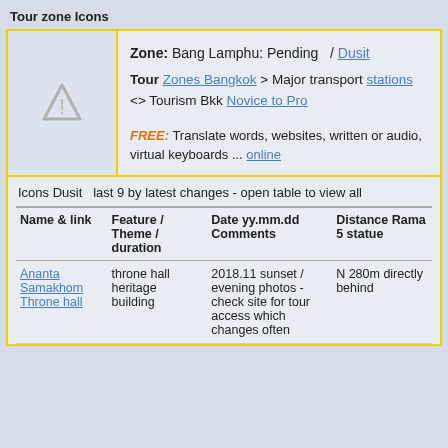Tour zone Icons
Zone:  Bang Lamphu: Pending   / Dusit
Tour Zones Bangkok > Major transport stations <> Tourism Bkk Novice to Pro
FREE: Translate words, websites, written or audio, virtual keyboards ... online
Icons Dusit   last 9 by latest changes - open table to view all
| Name & link | Feature / Theme / duration | Date yy.mm.dd Comments | Distance Rama 5 statue |
| --- | --- | --- | --- |
| Ananta Samakhom Throne hall | throne hall heritage building | 2018.11 sunset / evening photos - check site for tour access which changes often | N 280m directly behind |